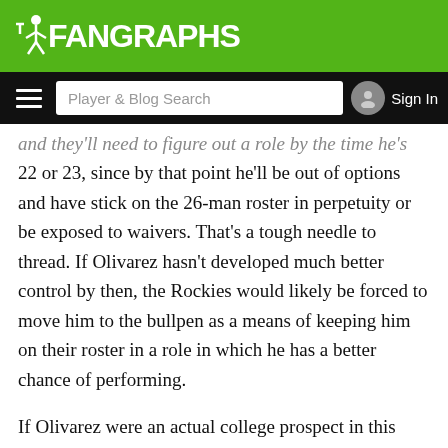FanGraphs
and they'll need to figure out a role by the time he's 22 or 23, since by that point he'll be out of options and have stick on the 26-man roster in perpetuity or be exposed to waivers. That's a tough needle to thread. If Olivarez hasn't developed much better control by then, the Rockies would likely be forced to move him to the bullpen as a means of keeping him on their roster in a role in which he has a better chance of performing.
If Olivarez were an actual college prospect in this year's draft, his 40-man/Rule 5 clock would not start until after he signs, giving him three years to develop in the minors before the